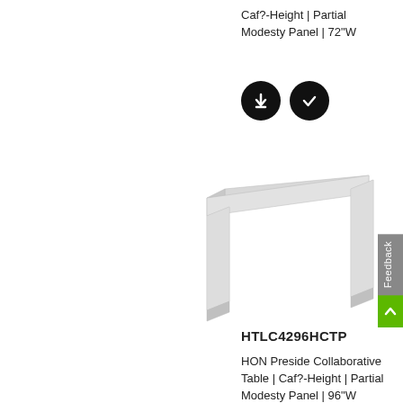Caf?-Height | Partial Modesty Panel | 72"W
[Figure (illustration): Two black circular icon buttons: a download arrow icon and a checkmark icon]
[Figure (photo): Product photo of a light gray HON Preside Collaborative Table with partial modesty panel, showing the table top and panel legs from a 3/4 angle]
HTLC4296HCTP
HON Preside Collaborative Table | Caf?-Height | Partial Modesty Panel | 96"W